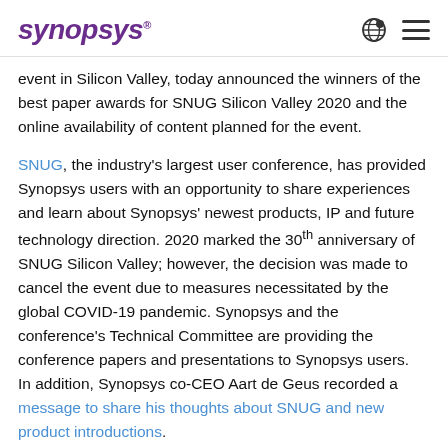SYNOPSYS
event in Silicon Valley, today announced the winners of the best paper awards for SNUG Silicon Valley 2020 and the online availability of content planned for the event.
SNUG, the industry's largest user conference, has provided Synopsys users with an opportunity to share experiences and learn about Synopsys' newest products, IP and future technology direction. 2020 marked the 30th anniversary of SNUG Silicon Valley; however, the decision was made to cancel the event due to measures necessitated by the global COVID-19 pandemic. Synopsys and the conference's Technical Committee are providing the conference papers and presentations to Synopsys users.  In addition, Synopsys co-CEO Aart de Geus recorded a message to share his thoughts about SNUG and new product introductions.
"SNUG has cultivated a spirit of community and innovation for